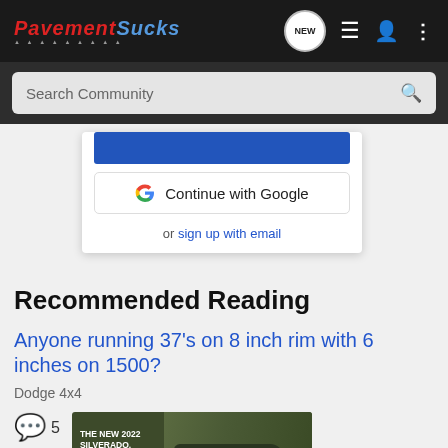PavementSucks — Navigation bar with logo, NEW button, list icon, user icon, more icon
Search Community
[Figure (screenshot): Continue with Google button and sign up modal overlay]
Recommended Reading
Anyone running 37's on 8 inch rim with 6 inches on 1500?
Dodge 4x4
5 comments
[Figure (photo): The New 2022 Silverado. Explore. Chevrolet advertisement banner with truck image.]
he